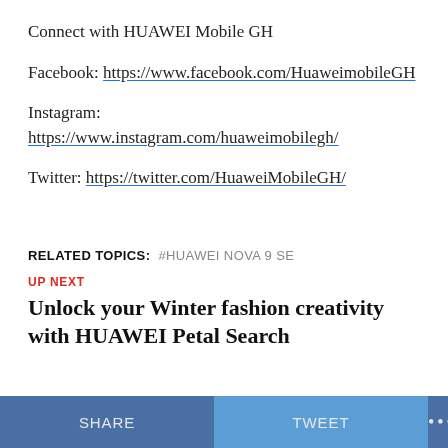Connect with HUAWEI Mobile GH
Facebook: https://www.facebook.com/HuaweimobileGH
Instagram:
https://www.instagram.com/huaweimobilegh/
Twitter: https://twitter.com/HuaweiMobileGH/
RELATED TOPICS:   #HUAWEI NOVA 9 SE
UP NEXT
Unlock your Winter fashion creativity with HUAWEI Petal Search
SHARE   TWEET   ...